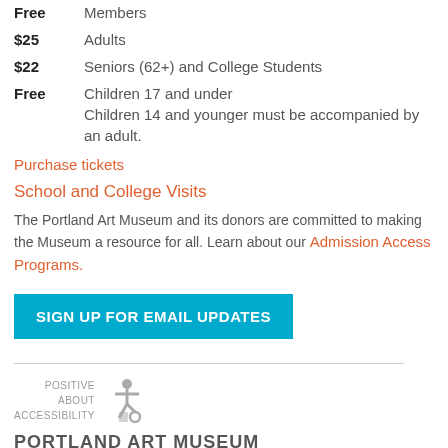Free   Members
$25   Adults
$22   Seniors (62+) and College Students
Free   Children 17 and under
Children 14 and younger must be accompanied by an adult.
Purchase tickets
School and College Visits
The Portland Art Museum and its donors are committed to making the Museum a resource for all. Learn about our Admission Access Programs.
SIGN UP FOR EMAIL UPDATES
[Figure (logo): Positive About Accessibility logo with stylized wheelchair user icon]
PORTLAND ART MUSEUM